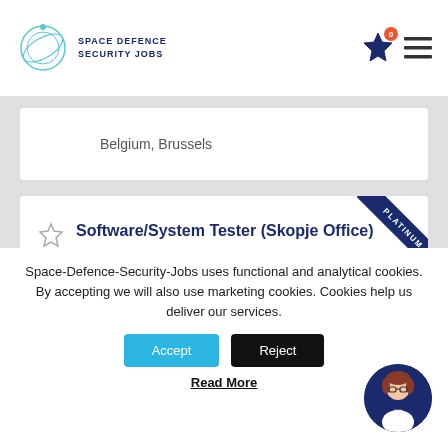SPACE DEFENCE SECURITY JOBS
Belgium, Brussels
Software/System Tester (Skopje Office)
Sapienza Consulting
North Macedonia, Skopje
Space-Defence-Security-Jobs uses functional and analytical cookies. By accepting we will also use marketing cookies. Cookies help us deliver our services.
Accept
Reject
Read More